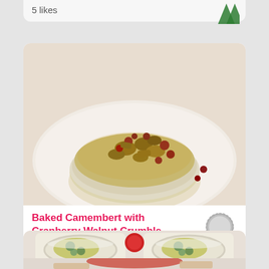5 likes
[Figure (photo): Baked Camembert topped with cranberry walnut crumble on a white plate]
Baked Camembert with Cranberry Walnut Crumble
3 likes
[Figure (photo): Two wraps filled with blue cheese and herbs on a white plate with red pepper]